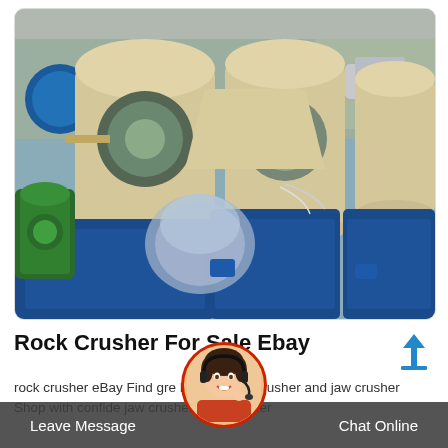[Figure (photo): Industrial rock crusher / sand washing machine equipment with cream/beige colored rotating drum components and blue metal frames/troughs, green motor on left side, plastic-wrapped component in center, photographed outdoors under a covered area with cars visible in background.]
Rock Crusher For Sale Ebay
rock crusher eBay Find great deals on eBay for rock crusher and jaw crusher Shop with confidence jaw crusher rock crusher
[Figure (photo): Customer service representative avatar - woman with headset smiling, shown in circular frame with red border ring.]
Leave Message   Chat Online